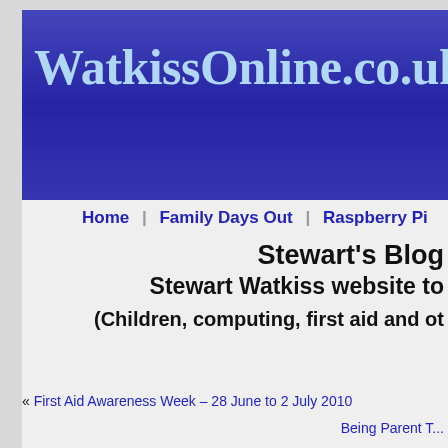[Figure (logo): WatkissOnline.co.uk website banner with blue gradient background and light blue bold serif text]
Home   Family Days Out   Raspberry Pi
Stewart's Blog
Stewart Watkiss website to
(Children, computing, first aid and ot
« First Aid Awareness Week – 28 June to 2 July 2010
Being Parent T...